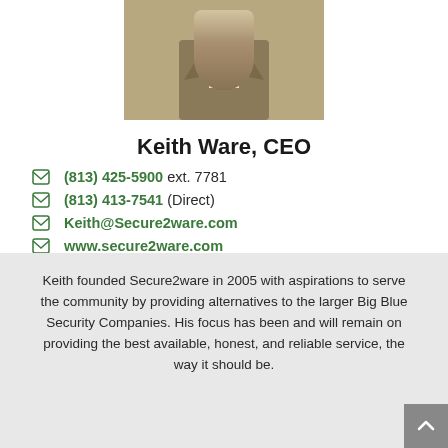[Figure (photo): Photo of Keith Ware, CEO — partial view showing suit jacket and tie]
Keith Ware, CEO
(813) 425-5900 ext. 7781
(813) 413-7541 (Direct)
Keith@Secure2ware.com
www.secure2ware.com
www.S2Wsecurity.com
Keith founded Secure2ware in 2005 with aspirations to serve the community by providing alternatives to the larger Big Blue Security Companies. His focus has been and will remain on providing the best available, honest, and reliable service, the way it should be.